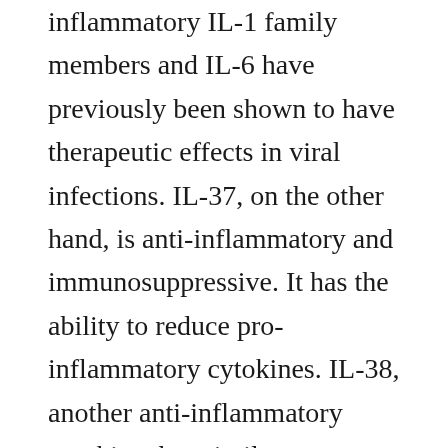inflammatory IL-1 family members and IL-6 have previously been shown to have therapeutic effects in viral infections. IL-37, on the other hand, is anti-inflammatory and immunosuppressive. It has the ability to reduce pro-inflammatory cytokines. IL-38, another anti-inflammatory cytokine, has similar immunosuppressive properties. This gives insight into potential therapeutic cytokines that can be elevated to fight covid-19. Given its association with higher fatality, the screening for hyperinflammation should strongly be considered amongst all covid-19 cases, as this could help identify patients for whom immunosuppression could be beneficial. [14]